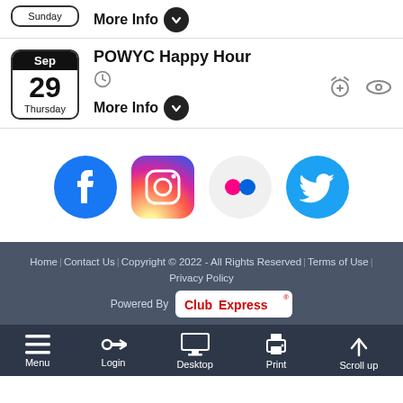Sunday / More Info
POWYC Happy Hour
More Info
[Figure (illustration): Social media icons: Facebook, Instagram, Flickr, Twitter]
Home | Contact Us | Copyright © 2022 - All Rights Reserved | Terms of Use | Privacy Policy | Powered By ClubExpress
Menu | Login | Desktop | Print | Scroll up